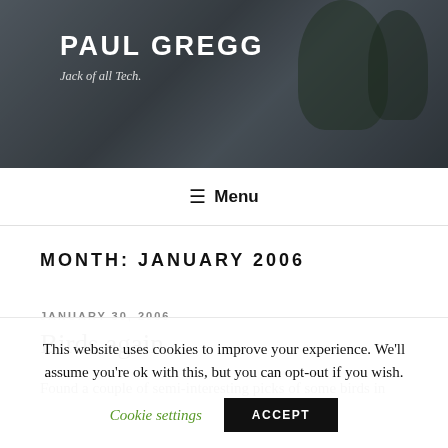[Figure (photo): Website header banner with dark background and plants in pots on a desk, blurred background]
PAUL GREGG
Jack of all Tech.
≡ Menu
MONTH: JANUARY 2006
JANUARY 30, 2006
Birds again
Found a couple of semi-interesting picks of some birds in
This website uses cookies to improve your experience. We'll assume you're ok with this, but you can opt-out if you wish.
Cookie settings  ACCEPT